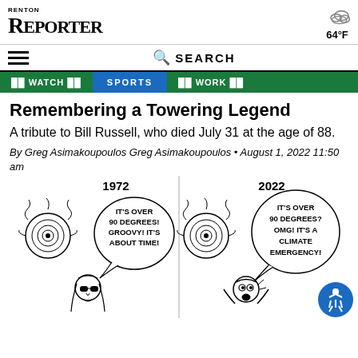RENTON REPORTER
64°F
☰  🔍 SEARCH
WATCH | SPORTS | WORK
Remembering a Towering Legend
A tribute to Bill Russell, who died July 31 at the age of 88.
By Greg Asimakoupoulos Greg Asimakoupoulos • August 1, 2022 11:50 am
[Figure (illustration): Two-panel cartoon showing 1972 on the left: a sun-like spiral figure with a speech bubble saying 'IT'S OVER 90 DEGREES! GROOVY! IT'S ABOUT TIME!' with a long-haired person wearing sunglasses; and 2022 on the right: a similar spiral sun with a speech bubble saying 'IT'S OVER 90 DEGREES? OMG! IT'S A CLIMATE EMERGENCY!' with a wide-eyed alarmed person.]